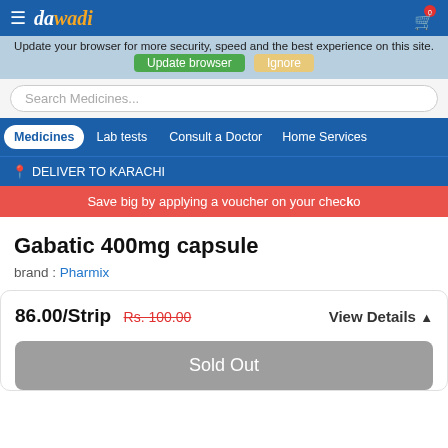dawadi — Navigation header with cart
Update your browser for more security, speed and the best experience on this site.
Update browser | Ignore
Search Medicines...
Medicines | Lab tests | Consult a Doctor | Home Services
DELIVER TO KARACHI
Save big by applying a voucher on your checkout
Gabatic 400mg capsule
brand : Pharmix
86.00/Strip Rs. 100.00 View Details
Sold Out